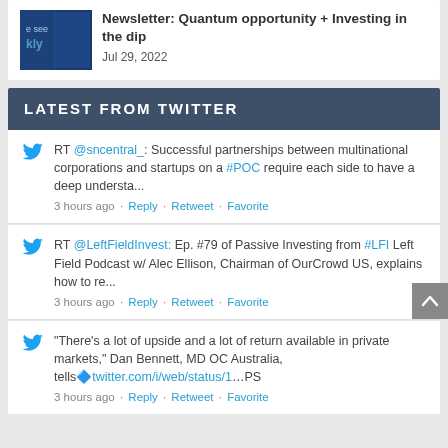[Figure (illustration): Newsletter thumbnail with dark blue background and white text]
Newsletter: Quantum opportunity + Investing in the dip
Jul 29, 2022
LATEST FROM TWITTER
RT @sncentral_: Successful partnerships between multinational corporations and startups on a #POC require each side to have a deep understa...
3 hours ago · Reply · Retweet · Favorite
RT @LeftFieldInvest: Ep. #79 of Passive Investing from #LFI Left Field Podcast w/ Alec Ellison, Chairman of OurCrowd US, explains how to re...
3 hours ago · Reply · Retweet · Favorite
"There's a lot of upside and a lot of return available in private markets," Dan Bennett, MD OC Australia, tells🔷twitter.com/i/web/status/1…PS
3 hours ago · Reply · Retweet · Favorite